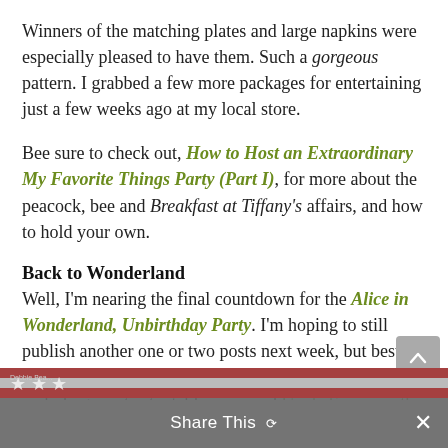Winners of the matching plates and large napkins were especially pleased to have them. Such a gorgeous pattern. I grabbed a few more packages for entertaining just a few weeks ago at my local store.
Bee sure to check out, How to Host an Extraordinary My Favorite Things Party (Part I), for more about the peacock, bee and Breakfast at Tiffany's affairs, and how to hold your own.
Back to Wonderland
Well, I'm nearing the final countdown for the Alice in Wonderland, Unbirthday Party. I'm hoping to still publish another one or two posts next week, but best laid plans... I also have several July 4th posts to share, including a patriotic tablescape and Uncle Sam wreath.
[Figure (photo): Bottom bar showing a patriotic-themed image preview with an overlaid 'Share This' toolbar and close button]